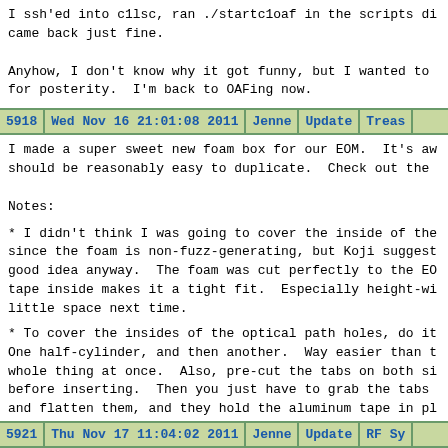I ssh'ed into c1lsc, ran ./startc1oaf in the scripts di came back just fine.

Anyhow, I don't know why it got funny, but I wanted to for posterity.  I'm back to OAFing now.
| 5918 | Wed Nov 16 21:01:08 2011 | Jenne | Update | Treas |
| --- | --- | --- | --- | --- |
I made a super sweet new foam box for our EOM.  It's aw should be reasonably easy to duplicate.  Check out the

Notes:
* I didn't think I was going to cover the inside of the since the foam is non-fuzz-generating, but Koji suggest good idea anyway.  The foam was cut perfectly to the EO tape inside makes it a tight fit.  Especially height-wi little space next time.
* To cover the insides of the optical path holes, do it One half-cylinder, and then another.  Way easier than t whole thing at once.  Also, pre-cut the tabs on both si before inserting.  Then you just have to grab the tabs and flatten them, and they hold the aluminum tape in pl
* Having 1" wide, 2" wide and 3" wide aluminum tape was make the top, 2" for the sides, and 1" for the inside o
| 5921 | Thu Nov 17 11:04:02 2011 | Jenne | Update | RF Sy |
| --- | --- | --- | --- | --- |